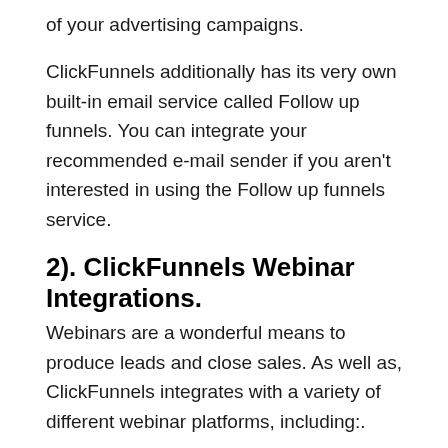of your advertising campaigns.
ClickFunnels additionally has its very own built-in email service called Follow up funnels. You can integrate your recommended e-mail sender if you aren't interested in using the Follow up funnels service.
2). ClickFunnels Webinar Integrations.
Webinars are a wonderful means to produce leads and close sales. As well as, ClickFunnels integrates with a variety of different webinar platforms, including:.
GoToWebinar.
WebinarJam.